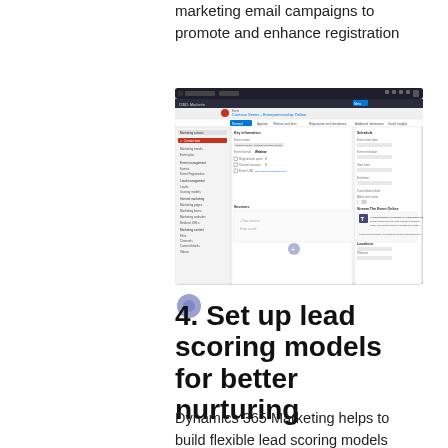marketing email campaigns to promote and enhance registration
[Figure (screenshot): Screenshot of Dynamics 365 Marketing interface showing a Contoso Series event management page with navigation sidebar, event details form, schedule fields, and virtual event options.]
4. Set up lead scoring models for better nurturing
Dynamics 365 Marketing helps to build flexible lead scoring models based on